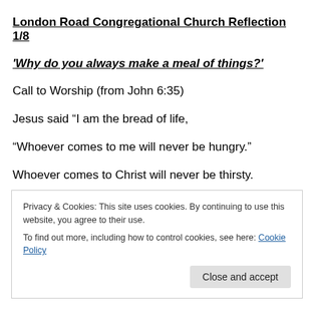London Road Congregational Church Reflection 1/8
'Why do you always make a meal of things?'
Call to Worship (from John 6:35)
Jesus said “I am the bread of life,
“Whoever comes to me will never be hungry.”
Whoever comes to Christ will never be thirsty.
“Lord, give us this bread always.”
May we find fulfilment in the body of Christ.
Privacy & Cookies: This site uses cookies. By continuing to use this website, you agree to their use.
To find out more, including how to control cookies, see here: Cookie Policy